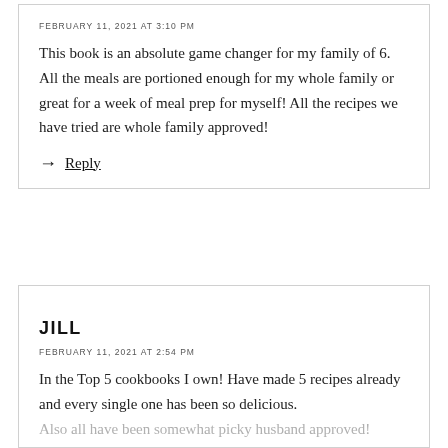FEBRUARY 11, 2021 AT 3:10 PM
This book is an absolute game changer for my family of 6. All the meals are portioned enough for my whole family or great for a week of meal prep for myself! All the recipes we have tried are whole family approved!
→ Reply
JILL
FEBRUARY 11, 2021 AT 2:54 PM
In the Top 5 cookbooks I own! Have made 5 recipes already and every single one has been so delicious. Also all have been somewhat picky husband approved! Being able to search the recipes in MFP is